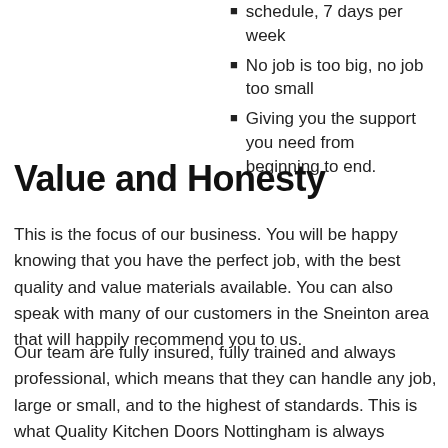schedule, 7 days per week
No job is too big, no job too small
Giving you the support you need from beginning to end.
Value and Honesty
This is the focus of our business. You will be happy knowing that you have the perfect job, with the best quality and value materials available. You can also speak with many of our customers in the Sneinton area that will happily recommend you to us.
Our team are fully insured, fully trained and always professional, which means that they can handle any job, large or small, and to the highest of standards. This is what Quality Kitchen Doors Nottingham is always working towards. And because of this, our customers come back to